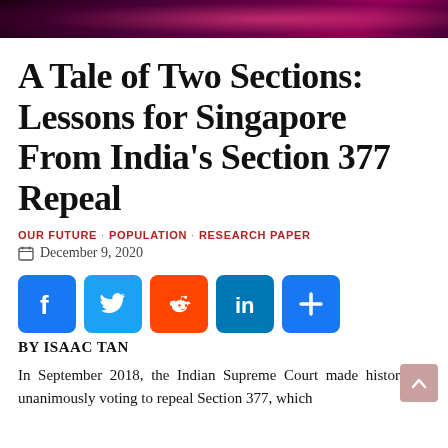[Figure (photo): Dark banner image with pinkish/red bokeh or crowd lighting effect at top of page]
A Tale of Two Sections: Lessons for Singapore From India’s Section 377 Repeal
OUR FUTURE · POPULATION · RESEARCH PAPER
December 9, 2020
[Figure (infographic): Social share buttons: Facebook (blue), Twitter (blue), Reddit (orange), LinkedIn (teal), More/plus (blue)]
BY ISAAC TAN
In September 2018, the Indian Supreme Court made history by unanimously voting to repeal Section 377, which prohibits of both the “carnal offences against the order of